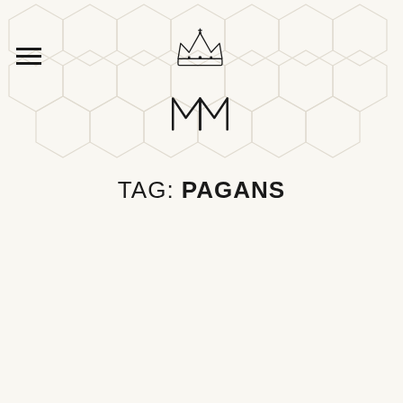[Figure (logo): Crowned monogram logo with stylized MM letters beneath a royal crown, on a decorative hexagonal patterned background]
TAG: PAGANS